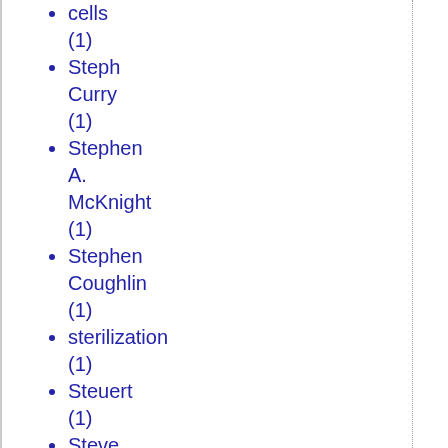cells (1)
Steph Curry (1)
Stephen A. McKnight (1)
Stephen Coughlin (1)
sterilization (1)
Steuert (1)
Steve Talbott (5)
Steven Pinker (1)
Stimulus (2)
Strategy